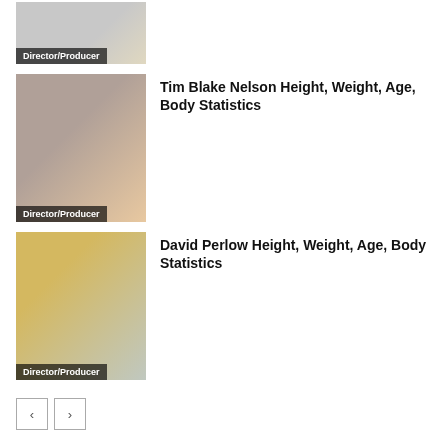[Figure (photo): Partial photo of a person with Director/Producer label at bottom]
[Figure (photo): Photo of Tim Blake Nelson with Director/Producer label at bottom]
Tim Blake Nelson Height, Weight, Age, Body Statistics
[Figure (photo): Photo of David Perlow wearing glasses with Director/Producer label at bottom]
David Perlow Height, Weight, Age, Body Statistics
< >
LEAVE A REPLY
Comment: